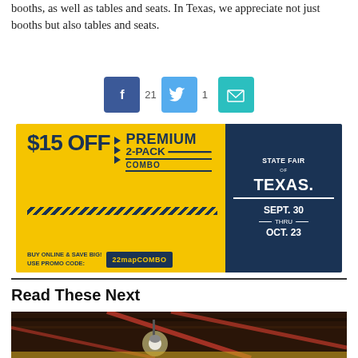booths, as well as tables and seats. In Texas, we appreciate not just booths but also tables and seats.
[Figure (infographic): Social share buttons: Facebook (21 shares), Twitter (1 share), Email]
[Figure (other): Advertisement: $15 OFF Premium 2-Pack Combo. State Fair of Texas. Sept. 30 thru Oct. 23. Buy online & save big! Use promo code: 22mapCOMBO]
Read These Next
[Figure (photo): Interior photo of a restaurant or bar with exposed ceiling pipes/beams, red accents, and pendant lights]